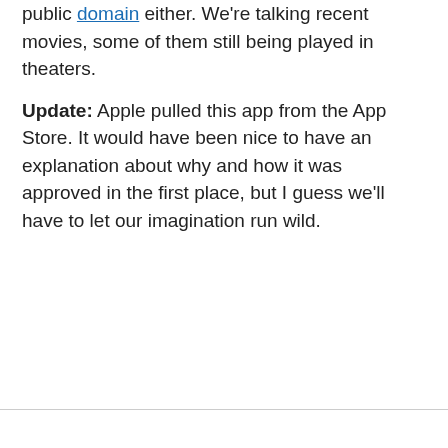public domain either. We're talking recent movies, some of them still being played in theaters.
Update: Apple pulled this app from the App Store. It would have been nice to have an explanation about why and how it was approved in the first place, but I guess we'll have to let our imagination run wild.